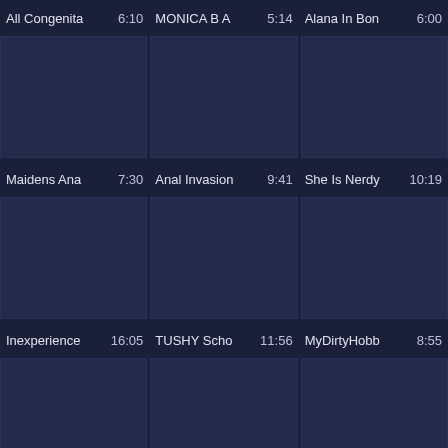All Congenita  6:10   MONICA B A  5:14   Alana In Bon  6:00
[Figure (screenshot): Three video thumbnails in a row, dark blue placeholder images]
Maidens Ana  7:30   Anal Invasion  9:41   She Is Nerdy  10:19
[Figure (screenshot): Three video thumbnails in a row, dark blue placeholder images]
Inexperience  16:05   TUSHY Scho  11:56   MyDirtyHobb  8:55
[Figure (screenshot): Three video thumbnails in a row, dark blue placeholder images]
Super-Hot Vi  8:16   Kinky First-T  14:55   Nubile Gf Ma  7:59
[Figure (screenshot): Three partial video thumbnails in a row, dark blue placeholder images, cut off at bottom]